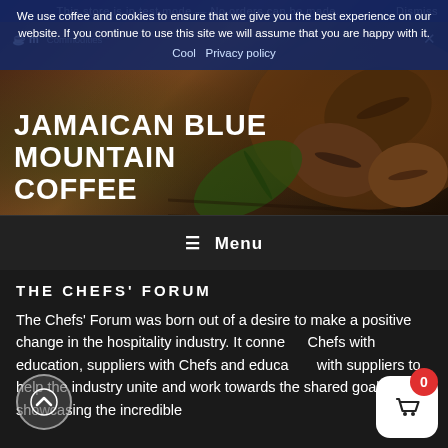This store is in test mode — No orders can be made. Dismiss
We use coffee and cookies to ensure that we give you the best experience on our website. If you continue to use this site we will assume that you are happy with it. Cool  Privacy policy
JAMAICAN BLUE MOUNTAIN COFFEE
Experience the taste of excellence
≡  Menu
THE CHEFS' FORUM
The Chefs' Forum was born out of a desire to make a positive change in the hospitality industry. It connects Chefs with education, suppliers with Chefs and educators with suppliers to help the industry unite and work towards the shared goal of showcasing the incredible